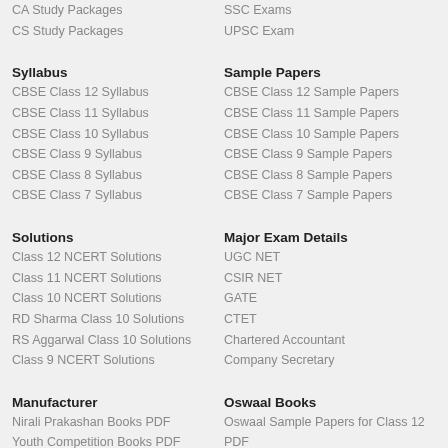CA Study Packages
SSC Exams
CS Study Packages
UPSC Exam
Syllabus
Sample Papers
CBSE Class 12 Syllabus
CBSE Class 12 Sample Papers
CBSE Class 11 Syllabus
CBSE Class 11 Sample Papers
CBSE Class 10 Syllabus
CBSE Class 10 Sample Papers
CBSE Class 9 Syllabus
CBSE Class 9 Sample Papers
CBSE Class 8 Syllabus
CBSE Class 8 Sample Papers
CBSE Class 7 Syllabus
CBSE Class 7 Sample Papers
Solutions
Major Exam Details
Class 12 NCERT Solutions
UGC NET
Class 11 NCERT Solutions
CSIR NET
Class 10 NCERT Solutions
GATE
RD Sharma Class 10 Solutions
CTET
RS Aggarwal Class 10 Solutions
Chartered Accountant
Class 9 NCERT Solutions
Company Secretary
Manufacturer
Oswaal Books
Nirali Prakashan Books PDF
Oswaal Sample Papers for Class 12
Youth Competition Books PDF
PDF